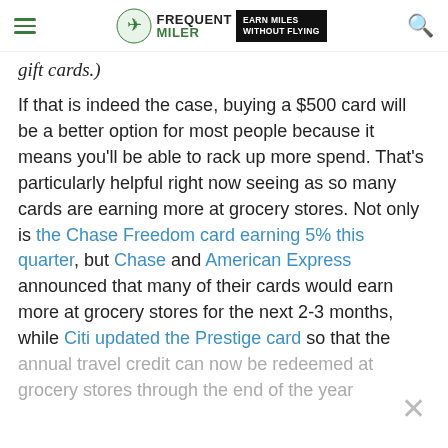Frequent Miler — Earn Miles Without Flying
gift cards.)
If that is indeed the case, buying a $500 card will be a better option for most people because it means you'll be able to rack up more spend. That's particularly helpful right now seeing as so many cards are earning more at grocery stores. Not only is the Chase Freedom card earning 5% this quarter, but Chase and American Express announced that many of their cards would earn more at grocery stores for the next 2-3 months, while Citi updated the Prestige card so that the annual travel credit can now be redeemed at grocery stores through the end of the year